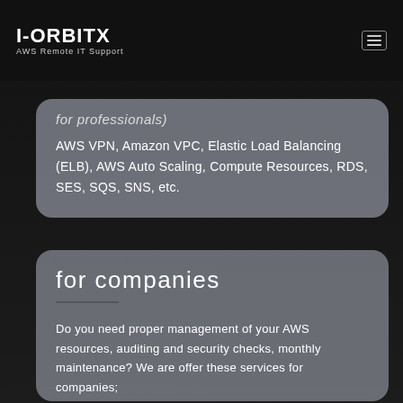I-ORBITX
AWS Remote IT Support
for professionals)
AWS VPN, Amazon VPC, Elastic Load Balancing (ELB), AWS Auto Scaling, Compute Resources, RDS, SES, SQS, SNS, etc.
for companies
Do you need proper management of your AWS resources, auditing and security checks, monthly maintenance? We are offer these services for companies;